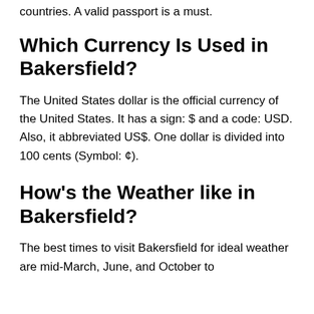countries. A valid passport is a must.
Which Currency Is Used in Bakersfield?
The United States dollar is the official currency of the United States. It has a sign: $ and a code: USD. Also, it abbreviated US$. One dollar is divided into 100 cents (Symbol: ¢).
How's the Weather like in Bakersfield?
The best times to visit Bakersfield for ideal weather are mid-March, June, and October to